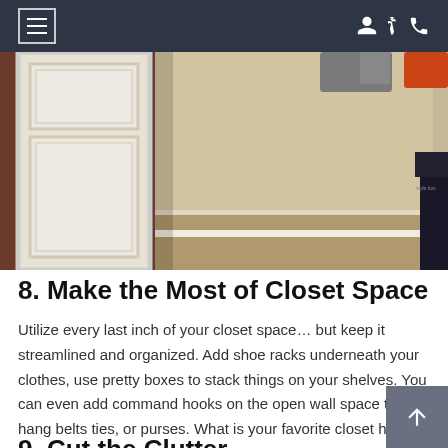Navigation bar with hamburger menu and user/phone icons
[Figure (photo): Interior closet space showing a white panel door on the left side, beige/cream walls, carpeted floor, with clothing items visible at the top right and a dark box on the far right.]
8. Make the Most of Closet Space
Utilize every last inch of your closet space… but keep it streamlined and organized. Add shoe racks underneath your clothes, use pretty boxes to stack things on your shelves. You can even add command hooks on the open wall space to hang belts ties, or purses. What is your favorite closet hack?
9. Cut the Clutter